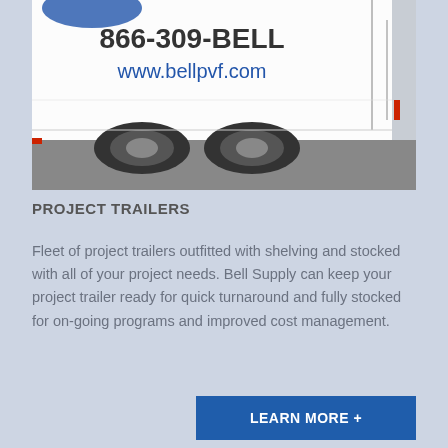[Figure (photo): Photo of a white project trailer with dual rear wheels. The trailer displays '866-309-BELL' and 'www.bellpvf.com' in large text on its side.]
PROJECT TRAILERS
Fleet of project trailers outfitted with shelving and stocked with all of your project needs. Bell Supply can keep your project trailer ready for quick turnaround and fully stocked for on-going programs and improved cost management.
LEARN MORE +